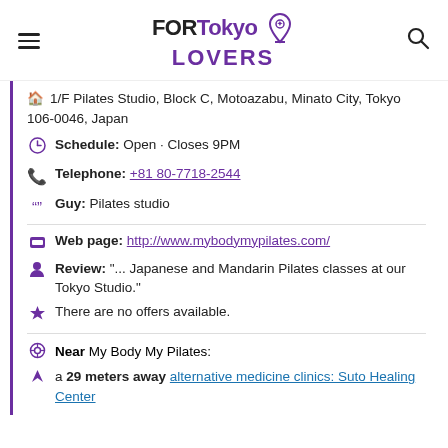FOR Tokyo LOVERS
🏠 1/F Pilates Studio, Block C, Motoazabu, Minato City, Tokyo 106-0046, Japan
Schedule: Open · Closes 9PM
Telephone: +81 80-7718-2544
Guy: Pilates studio
Web page: http://www.mybodymypilates.com/
Review: "... Japanese and Mandarin Pilates classes at our Tokyo Studio."
There are no offers available.
Near My Body My Pilates:
a 29 meters away alternative medicine clinics: Suto Healing Center